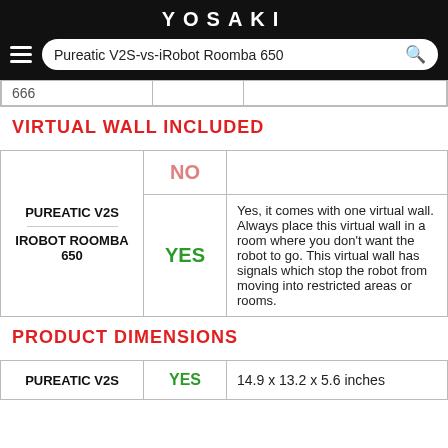YOSAKI — Pureatic V2S-vs-iRobot Roomba 650
|  |  |  |
| --- | --- | --- |
| ... |  |  |
VIRTUAL WALL INCLUDED
| Product | Yes/No | Description |
| --- | --- | --- |
| PUREATIC V2S | NO |  |
| IROBOT ROOMBA 650 | YES | Yes, it comes with one virtual wall. Always place this virtual wall in a room where you don't want the robot to go. This virtual wall has signals which stop the robot from moving into restricted areas or rooms. |
PRODUCT DIMENSIONS
| Product | Yes/No | Dimensions |
| --- | --- | --- |
| PUREATIC V2S | YES | 14.9 x 13.2 x 5.6 inches |